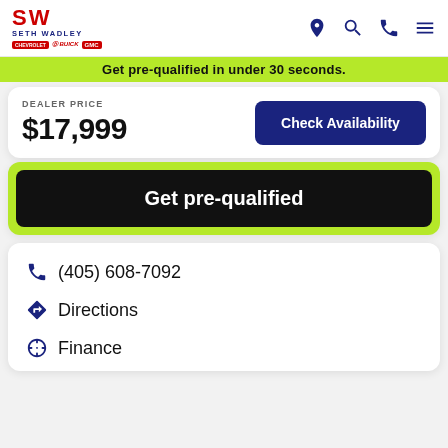Seth Wadley Chevrolet Buick GMC
Get pre-qualified in under 30 seconds.
DEALER PRICE $17,999
Check Availability
Get pre-qualified
(405) 608-7092
Directions
Finance